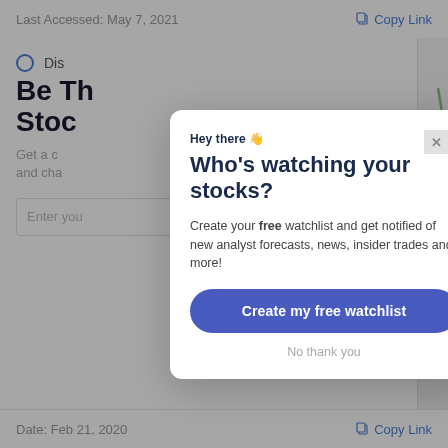Last Accessed: May 7, 2021   Copy Link
Dis
Be Th
Stoc
Get a c
and cha
Enter you
[Figure (screenshot): Modal dialog overlay on a financial website with heading 'Hey there' and 'Who's watching your stocks?', body text 'Create your free watchlist and get notified of new analyst forecasts, news, insider trades and more!', a blue 'Create my free watchlist' button, and a 'No thank you' dismiss link. An X close button is visible in the top right of the modal.]
Date: Feb 21, 2020   Copy Link